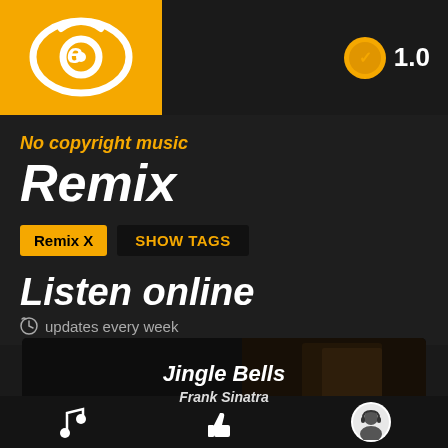[Figure (logo): Orange square logo with stylized eye/shield icon containing letter e]
1.0
No copyright music
Remix
Remix X   SHOW TAGS
Listen online
updates every week
[Figure (photo): Music card showing Jingle Bells by Frank Sinatra with dark background]
Music note icon, thumbs up icon, headphone avatar icon